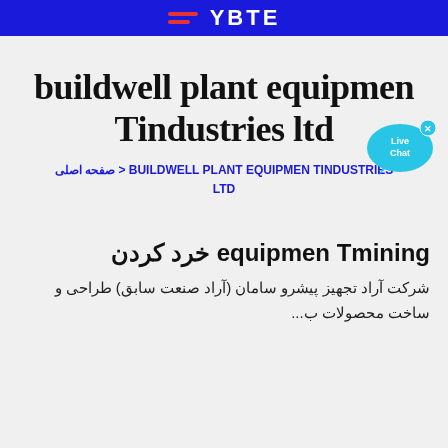YBTE (logo with hamburger menu icon)
buildwell plant equipmen Tindustries ltd
[Figure (illustration): Live Chat speech bubble icon in cyan/blue color with 'Live Chat' text and a small X close button]
صفحه اصلی > BUILDWELL PLANT EQUIPMEN TINDUSTRIES LTD
equipmen Tmining خرد کردن
شرکت آراد تجهیز پیشرو سامان (آراد صنعت سابق) طراحی و ساخت محصولات ب...